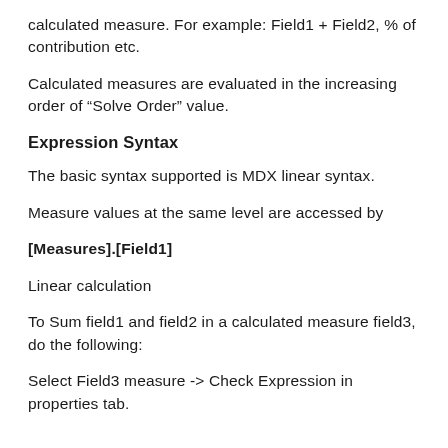calculated measure. For example: Field1 + Field2, % of contribution etc.
Calculated measures are evaluated in the increasing order of “Solve Order” value.
Expression Syntax
The basic syntax supported is MDX linear syntax.
Measure values at the same level are accessed by
[Measures].[Field1]
Linear calculation
To Sum field1 and field2 in a calculated measure field3, do the following:
Select Field3 measure -> Check Expression in properties tab.